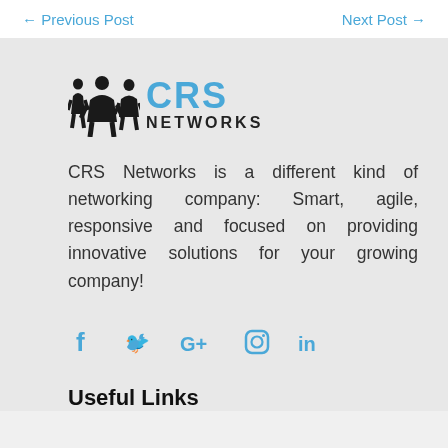← Previous Post    Next Post →
[Figure (logo): CRS Networks logo with silhouette figures of people on left and 'CRS' in blue and 'NETWORKS' in black text]
CRS Networks is a different kind of networking company: Smart, agile, responsive and focused on providing innovative solutions for your growing company!
[Figure (infographic): Social media icons: Facebook (f), Twitter (bird), Google+ (G+), Instagram (circle/square), LinkedIn (in)]
Useful Links